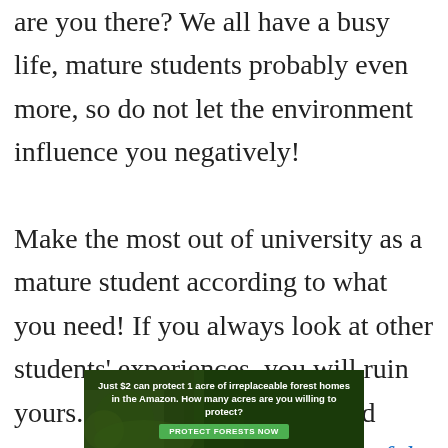are you there? We all have a busy life, mature students probably even more, so do not let the environment influence you negatively! Make the most out of university as a mature student according to what you need! If you always look at other students' experiences, you will ruin yours. In this other post I shared some tips on how to be a successful mature student at university,
[Figure (other): Advertisement banner: 'Just $2 can protect 1 acre of irreplaceable forest homes in the Amazon. How many acres are you willing to protect?' with a green 'PROTECT FORESTS NOW' button and forest/wildlife background image.]